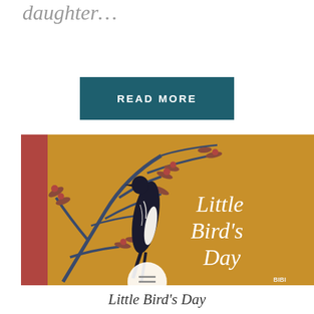daughter…
READ MORE
[Figure (illustration): Book cover of 'Little Bird's Day' showing a stylized black bird perched on golden-yellow branches with red-tipped foliage, illustrated in an Indigenous Australian art style]
Little Bird's Day